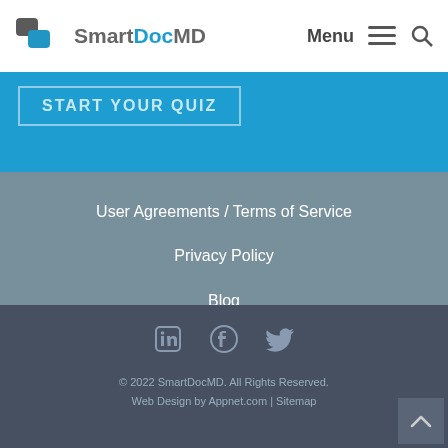SmartDocMD  Menu  🔍
START YOUR QUIZ
User Agreements / Terms of Service
Privacy Policy
Blog
© 2022 SmartDocMD. All Rights Reserved. Web Design by Appnet.com | Sitemap